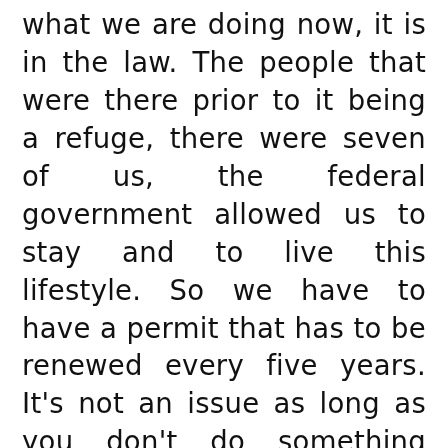what we are doing now, it is in the law. The people that were there prior to it being a refuge, there were seven of us, the federal government allowed us to stay and to live this lifestyle. So we have to have a permit that has to be renewed every five years. It’s not an issue as long as you don’t do something illegal. The permit only goes until the death of our last child, and when I asked them about that, I said, “Hey, what about grandchildren?” And this one federal agent told me no and then this other federal agent just shrugged his shoulders and said, “We’ll see.”